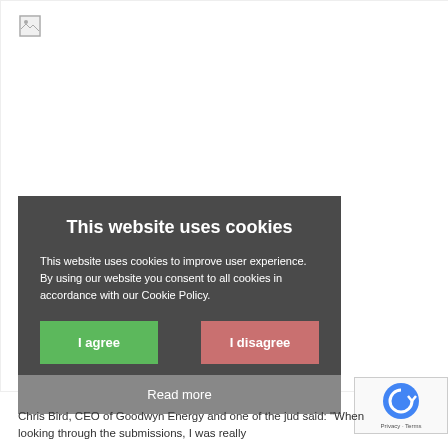[Figure (screenshot): Background web page content area with broken image icon in top-left corner]
This website uses cookies
This website uses cookies to improve user experience. By using our website you consent to all cookies in accordance with our Cookie Policy.
I agree
I disagree
Read more
Chris Bird, CEO of Goodwyn Energy and one of the jud said: “When looking through the submissions, I was really